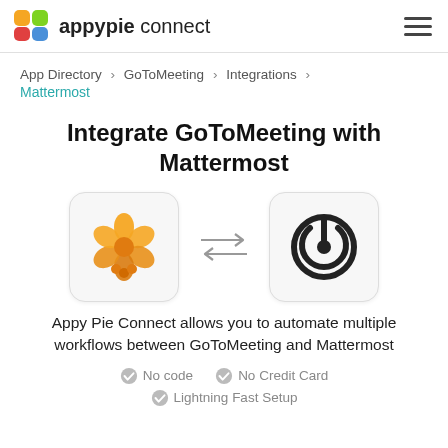appypie connect
App Directory > GoToMeeting > Integrations > Mattermost
Integrate GoToMeeting with Mattermost
[Figure (illustration): GoToMeeting flower emoji icon and Mattermost power-button icon with bidirectional arrows between them]
Appy Pie Connect allows you to automate multiple workflows between GoToMeeting and Mattermost
No code
No Credit Card
Lightning Fast Setup